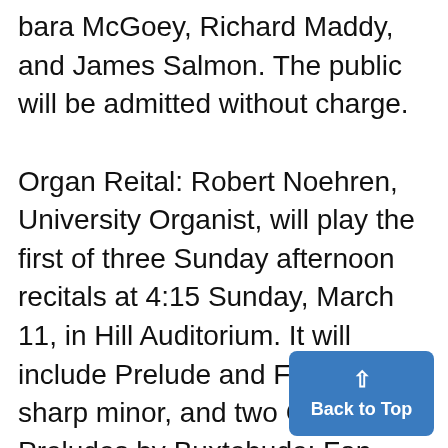bara McGoey, Richard Maddy, and James Salmon. The public will be admitted without charge. Organ Reital: Robert Noehren, University Organist, will play the first of three Sunday afternoon recitals at 4:15 Sunday, March 11, in Hill Auditorium. It will include Prelude and Fugue in F-sharp minor, and two Chorale Preludes by Buxtehude; Fantasia in G major, Trio-Sonata No. 4 in E minor, two Chorale Preludes, and Prelude and Fugue in B minor b This program and those to follo